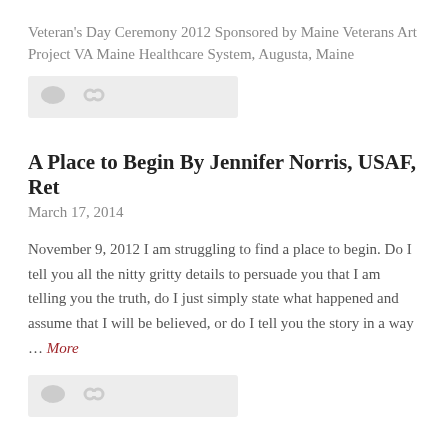Veteran's Day Ceremony 2012 Sponsored by Maine Veterans Art Project VA Maine Healthcare System, Augusta, Maine
[Figure (other): Icon bar with comment and link icons on light gray background]
A Place to Begin By Jennifer Norris, USAF, Ret
March 17, 2014
November 9, 2012 I am struggling to find a place to begin. Do I tell you all the nitty gritty details to persuade you that I am telling you the truth, do I just simply state what happened and assume that I will be believed, or do I tell you the story in a way … More
[Figure (other): Icon bar with comment and link icons on light gray background]